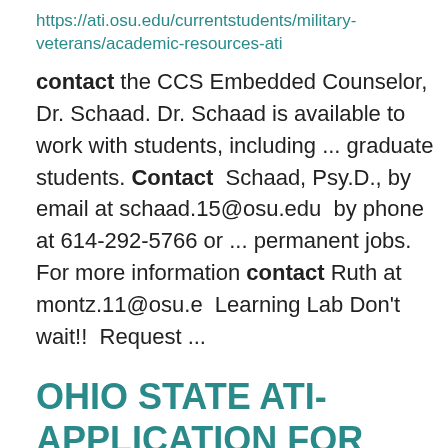https://ati.osu.edu/currentstudents/military-veterans/academic-resources-ati
contact the CCS Embedded Counselor, Dr. Schaad. Dr. Schaad is available to work with students, including ... graduate students. Contact Schaad, Psy.D., by email at schaad.15@osu.edu by phone at 614-292-5766 or ... permanent jobs. For more information contact Ruth at montz.11@osu.e Learning Lab Don't wait!! Request ...
OHIO STATE ATI- APPLICATION FOR DEGREE (Petition to Graduate)
https://ati.osu.edu/currentstudents/academics/forms-academic-and-internship/ohio-state-ati-application-for-degree